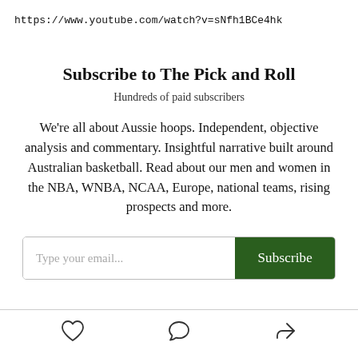https://www.youtube.com/watch?v=sNfh1BCe4hk
Subscribe to The Pick and Roll
Hundreds of paid subscribers
We're all about Aussie hoops. Independent, objective analysis and commentary. Insightful narrative built around Australian basketball. Read about our men and women in the NBA, WNBA, NCAA, Europe, national teams, rising prospects and more.
[Figure (other): Email subscription form with text input 'Type your email...' and a dark green 'Subscribe' button]
[Figure (other): Footer icons: heart (like), speech bubble (comment), and share arrow]